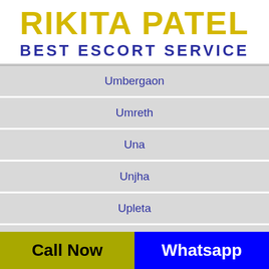RIKITA PATEL BEST ESCORT SERVICE
Umbergaon
Umreth
Una
Unjha
Upleta
Vadnagar
Call Now   Whatsapp